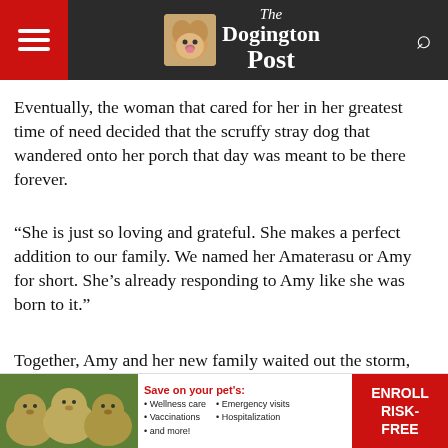The Dogington Post
Eventually, the woman that cared for her in her greatest time of need decided that the scruffy stray dog that wandered onto her porch that day was meant to be there forever.
“She is just so loving and grateful. She makes a perfect addition to our family. We named her Amaterasu or Amy for short. She’s already responding to Amy like she was born to it.”
Together, Amy and her new family waited out the storm, both thankful that they’d found each other.
[Figure (photo): Advertisement banner with photo of three golden retriever puppies, text about pet insurance savings, and red Enroll Risk-Free button]